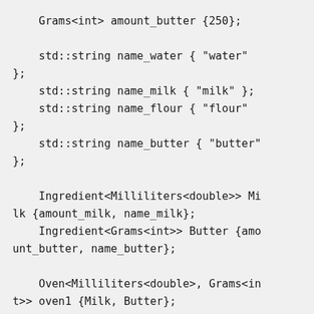Grams<int> amount_butter {250};

    std::string name_water { "water"
};
    std::string name_milk { "milk" };
    std::string name_flour { "flour"
};
    std::string name_butter { "butter"
};

    Ingredient<Milliliters<double>> Mi
lk {amount_milk, name_milk};
    Ingredient<Grams<int>> Butter {amo
unt_butter, name_butter};

    Oven<Milliliters<double>, Grams<in
t>> oven1 {Milk, Butter};

    oven1.Grill();